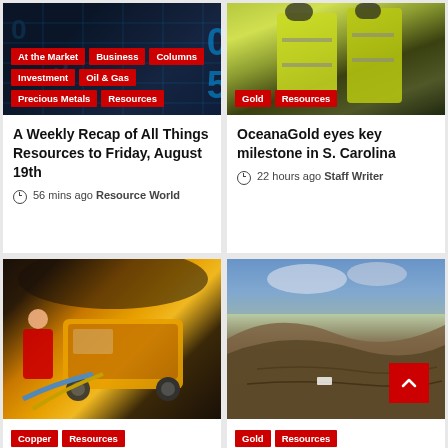[Figure (photo): Stock ticker board with blue digital numbers, dark background with tags: At the Market, Business, Columns, Investment, Oil & Gas, Precious Metals, Resources]
A Weekly Recap of All Things Resources to Friday, August 19th
56 mins ago  Resource World
[Figure (photo): Workers in yellow high-visibility jackets and hard hats, with tags: Gold, Resources]
OceanaGold eyes key milestone in S. Carolina
22 hours ago  Staff Writer
[Figure (photo): Underground mine tunnel with yellow mining equipment and worker in red jacket, tags: Copper, Resources]
[Figure (photo): Open pit mine landscape with brown hillsides and blue sky, tags: Gold, Resources]